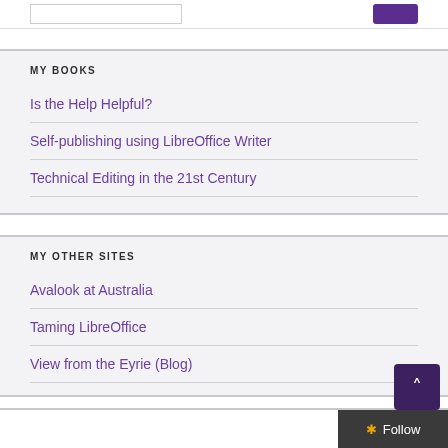MY BOOKS
Is the Help Helpful?
Self-publishing using LibreOffice Writer
Technical Editing in the 21st Century
MY OTHER SITES
Avalook at Australia
Taming LibreOffice
View from the Eyrie (Blog)